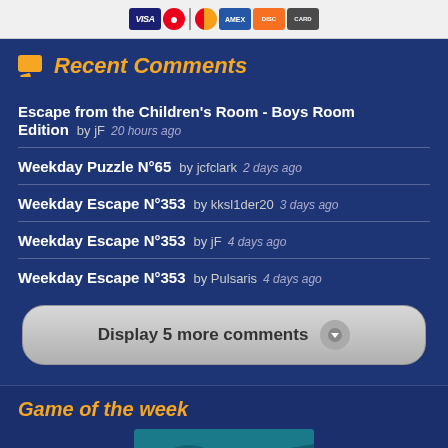[Figure (other): Payment card icons: VISA, Mastercard, Maestro, American Express, Discover, and another card]
Recent Comments
Escape from the Children's Room - Boys Room Edition by jF 20 hours ago
Weekday Puzzle N°65 by jcfclark 2 days ago
Weekday Escape N°353 by kksl1der20 3 days ago
Weekday Escape N°353 by jF 4 days ago
Weekday Escape N°353 by Pulsaris 4 days ago
Display 5 more comments
Game of the week
[Figure (screenshot): Partial screenshot of a game thumbnail]